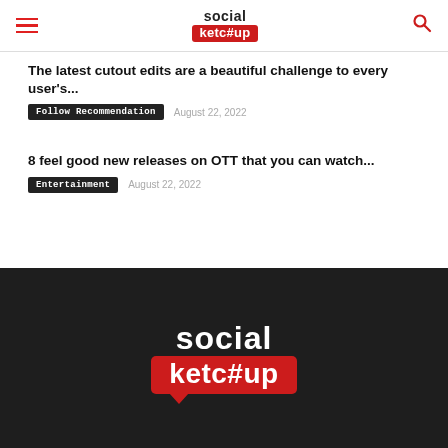social ketc#up
The latest cutout edits are a beautiful challenge to every user's...
Follow Recommendation   August 22, 2022
8 feel good new releases on OTT that you can watch...
Entertainment   August 22, 2022
[Figure (logo): Social Ketchup logo in white and red on dark background]